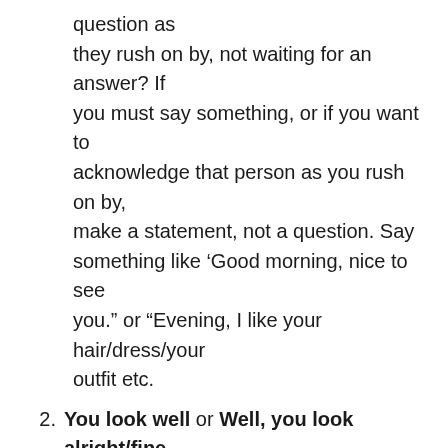question as they rush on by, not waiting for an answer? If you must say something, or if you want to acknowledge that person as you rush on by, make a statement, not a question. Say something like ‘Good morning, nice to see you.” or “Evening, I like your hair/dress/your outfit etc.
2. You look well or Well, you look alright/fine to me. Perhaps they do on the outside, but on the inside, they might be feeling suicidal. And your comment just might come across as judgemental or insincere. I experienced depression and anxiety first hand. Every time someone told me I look well, I just wanted to punch them. It was like “Why don’t you ask me